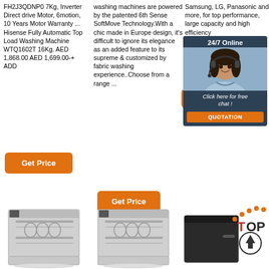FH2J3QDNP0 7Kg, Inverter Direct drive Motor, 6motion, 10 Years Motor Warranty ... Hisense Fully Automatic Top Load Washing Machine WTQ1602T 16Kg. AED 1,868.00 AED 1,699.00-+ ADD
washing machines are powered by the patented 6th Sense SoftMove Technology.With a chic made in Europe design, it's difficult to ignore its elegance as an added feature to its supreme & customized by fabric washing experience..Choose from a range ...
Samsung, LG, Panasonic and more, for top performance, large capacity and high efficiency
[Figure (other): 24/7 Online chat widget with woman wearing headset, dark blue background, orange QUOTATION button, 'Click here for free chat!' text]
Get Price
Get Price
Get Price
[Figure (photo): Dishwasher open with dishes inside, silver/stainless exterior]
[Figure (photo): Dishwasher open with dishes inside, silver/stainless exterior, similar to left]
[Figure (other): Dark dishwasher with TOP badge/logo (orange crown dots and circle arrow icon)]